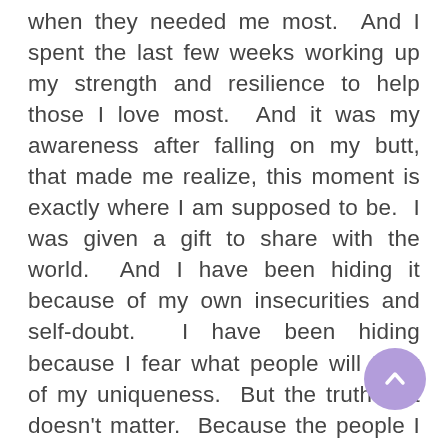when they needed me most.  And I spent the last few weeks working up my strength and resilience to help those I love most.  And it was my awareness after falling on my butt, that made me realize, this moment is exactly where I am supposed to be.  I was given a gift to share with the world.  And I have been hiding it because of my own insecurities and self-doubt.  I have been hiding because I fear what people will think of my uniqueness.  But the truth is it doesn't matter.  Because the people I love at the frontline deserve to see the silly side of me.  They deserve to have the funny girl that brings a smile, a joke and inspirational words into their days.  And if that means I get on Camera with a wig and make funny joke as I teach a relaxation technique then so be it.  So after falling on my butt, I realized that my uniqueness can inspire others